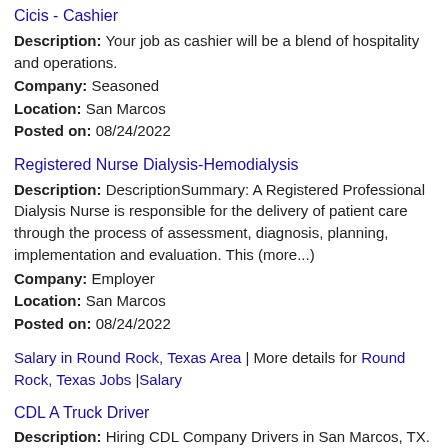Cicis - Cashier
Description: Your job as cashier will be a blend of hospitality and operations.
Company: Seasoned
Location: San Marcos
Posted on: 08/24/2022
Registered Nurse Dialysis-Hemodialysis
Description: DescriptionSummary: A Registered Professional Dialysis Nurse is responsible for the delivery of patient care through the process of assessment, diagnosis, planning, implementation and evaluation. This (more...)
Company: Employer
Location: San Marcos
Posted on: 08/24/2022
Salary in Round Rock, Texas Area | More details for Round Rock, Texas Jobs |Salary
CDL A Truck Driver
Description: Hiring CDL Company Drivers in San Marcos, TX. Apply once and choose a trucking job that works for you. Get home when you want to, and get paid what you deserve br Available Trucking